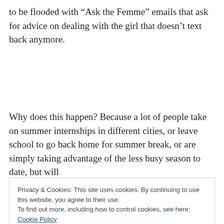to be flooded with “Ask the Femme” emails that ask for advice on dealing with the girl that doesn’t text back anymore.
Why does this happen? Because a lot of people take on summer internships in different cities, or leave school to go back home for summer break, or are simply taking advantage of the less busy season to date, but will
Privacy & Cookies: This site uses cookies. By continuing to use this website, you agree to their use.
To find out more, including how to control cookies, see here: Cookie Policy
to play this Cool Spice so you don’t get hurt or scare away